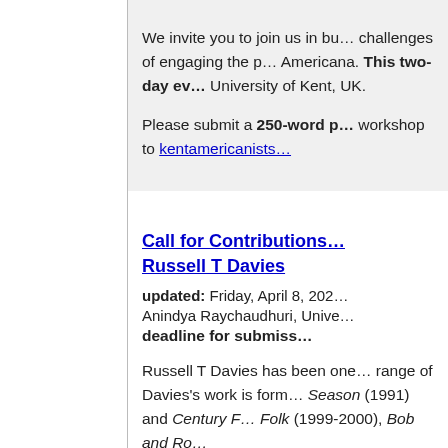We invite you to join us in bu... challenges of engaging the p... Americana. This two-day ev... University of Kent, UK.
Please submit a 250-word p... workshop to kentamericanists...
Call for Contributions Russell T Davies
updated: Friday, April 8, 202...
Anindya Raychaudhuri, Unive...
deadline for submiss...
Russell T Davies has been one... range of Davies's work is form... Season (1991) and Century F... Folk (1999-2000), Bob and Ro...